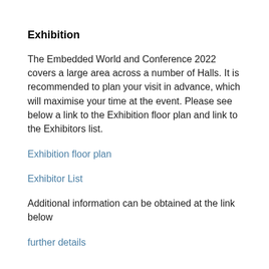Exhibition
The Embedded World and Conference 2022 covers a large area across a number of Halls. It is recommended to plan your visit in advance, which will maximise your time at the event. Please see below a link to the Exhibition floor plan and link to the Exhibitors list.
Exhibition floor plan
Exhibitor List
Additional information can be obtained at the link below
further details